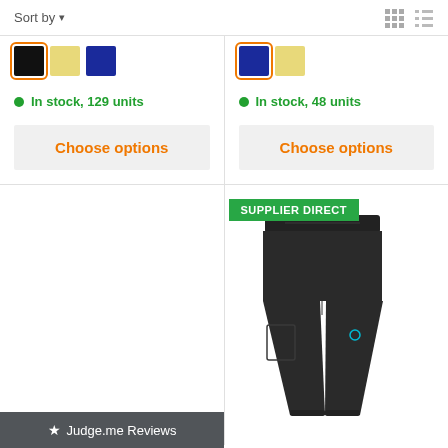Sort by
[Figure (screenshot): Product listing page showing color swatches, stock info, and choose options buttons for two products, plus a third product with SUPPLIER DIRECT badge]
In stock, 129 units
Choose options
In stock, 48 units
Choose options
SUPPLIER DIRECT
★ Judge.me Reviews